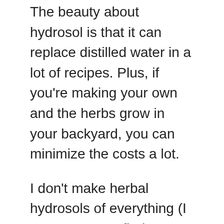The beauty about hydrosol is that it can replace distilled water in a lot of recipes. Plus, if you're making your own and the herbs grow in your backyard, you can minimize the costs a lot.
I don't make herbal hydrosols of everything (I never seem to find enough roses to make my own). During the winter, I prefer to buy them, but normally I go all crazy with them during the warmer months.